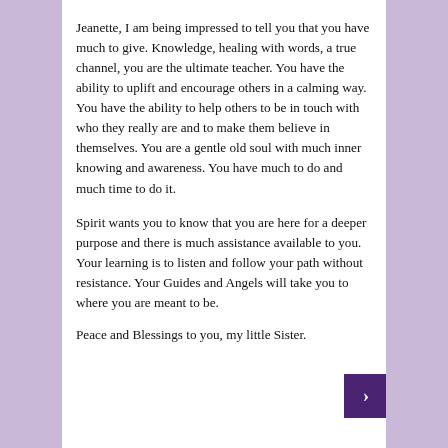Jeanette, I am being impressed to tell you that you have much to give. Knowledge, healing with words, a true channel, you are the ultimate teacher. You have the ability to uplift and encourage others in a calming way. You have the ability to help others to be in touch with who they really are and to make them believe in themselves. You are a gentle old soul with much inner knowing and awareness. You have much to do and much time to do it.
Spirit wants you to know that you are here for a deeper purpose and there is much assistance available to you.
Your learning is to listen and follow your path without resistance. Your Guides and Angels will take you to where you are meant to be.
Peace and Blessings to you, my little Sister.